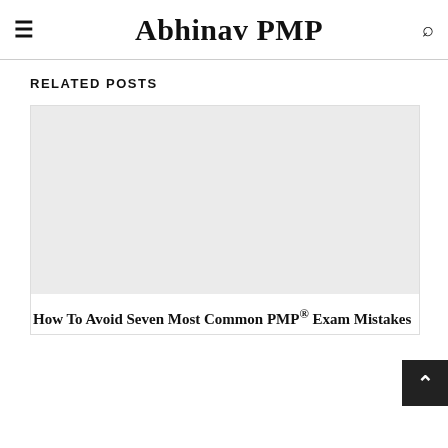Abhinav PMP
RELATED POSTS
[Figure (photo): Gray placeholder image for a related post thumbnail]
How To Avoid Seven Most Common PMP® Exam Mistakes